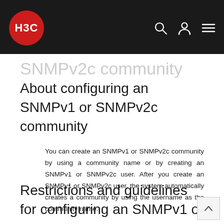H3C [logo with navigation icons]
SNMPv2c community
About configuring an SNMPv1 or SNMPv2c community
You can create an SNMPv1 or SNMPv2c community by using a community name or by creating an SNMPv1 or SNMPv2c user. After you create an SNMPv1 or SNMPv2c user, the system automatically creates a community by using the username as the community name.
Restrictions and guidelines for configuring an SNMPv1 or